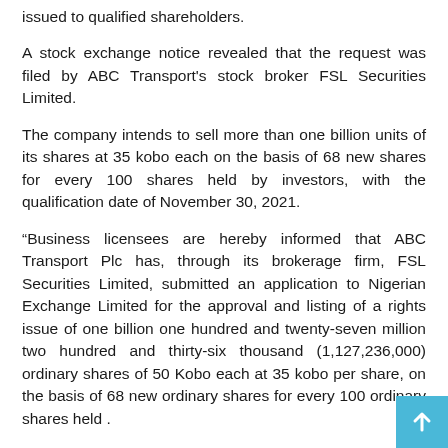issued to qualified shareholders.
A stock exchange notice revealed that the request was filed by ABC Transport's stock broker FSL Securities Limited.
The company intends to sell more than one billion units of its shares at 35 kobo each on the basis of 68 new shares for every 100 shares held by investors, with the qualification date of November 30, 2021.
“Business licensees are hereby informed that ABC Transport Plc has, through its brokerage firm, FSL Securities Limited, submitted an application to Nigerian Exchange Limited for the approval and listing of a rights issue of one billion one hundred and twenty-seven million two hundred and thirty-six thousand (1,127,236,000) ordinary shares of 50 Kobo each at 35 kobo per share, on the basis of 68 new ordinary shares for every 100 ordinary shares held .
“The qualifying date for the rights issue was Tuesday, November